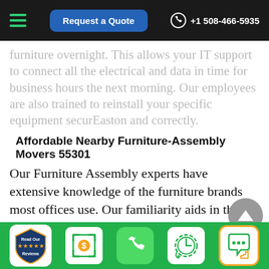Request a Quote | +1 508-466-5935
furniture overnight. This allows your IT support to connect all the electrical and data in time for business hours the next morning. Our employees are also trained to reinstall your specific equipment securEaston and correctly.
Affordable Nearby Furniture-Assembly Movers 55301
Our Furniture Assembly experts have extensive knowledge of the furniture brands most offices use. Our familiarity aids in the removal and reassembly of
Read Our Reviews | $ | Phone | Clock | Chat